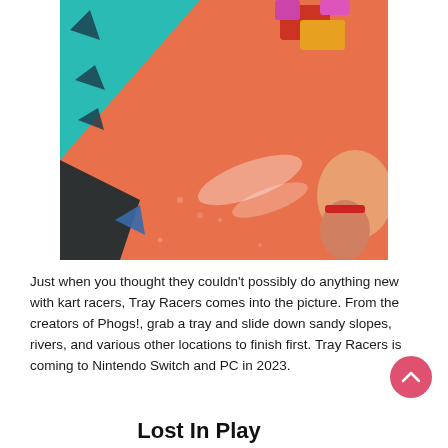[Figure (screenshot): Game screenshot of Tray Racers showing a character sliding on a tray down an orange/salmon-colored sandy slope with colorful abstract shapes in the background including teal and dark geometric forms.]
Just when you thought they couldn't possibly do anything new with kart racers, Tray Racers comes into the picture. From the creators of Phogs!, grab a tray and slide down sandy slopes, rivers, and various other locations to finish first. Tray Racers is coming to Nintendo Switch and PC in 2023.
Lost In Play